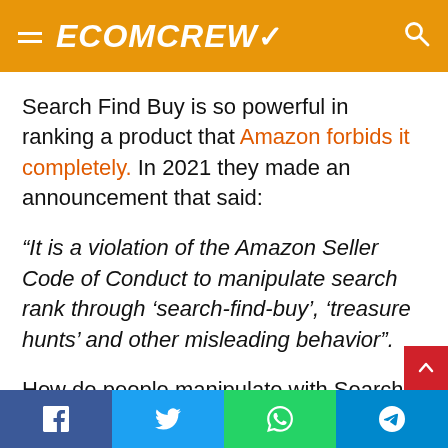ECOMCREW
Search Find Buy is so powerful in ranking a product that Amazon forbids it completely. In 2021 they made an announcement that said:
“It is a violation of the Amazon Seller Code of Conduct to manipulate search rank through ‘search-find-buy’, ‘treasure hunts’ and other misleading behavior”.
How do people manipulate with Search Find Buy? Here’s how: A seller asks a customer to